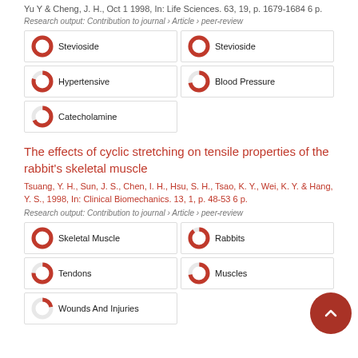Yu Y & Cheng, J. H., Oct 1 1998, In: Life Sciences. 63, 19, p. 1679-1684 6 p.
Research output: Contribution to journal › Article › peer-review
Stevioside
Stevioside
Hypertensive
Blood Pressure
Catecholamine
The effects of cyclic stretching on tensile properties of the rabbit's skeletal muscle
Tsuang, Y. H., Sun, J. S., Chen, I. H., Hsu, S. H., Tsao, K. Y., Wei, K. Y. & Hang, Y. S., 1998, In: Clinical Biomechanics. 13, 1, p. 48-53 6 p.
Research output: Contribution to journal › Article › peer-review
Skeletal Muscle
Rabbits
Tendons
Muscles
Wounds And Injuries